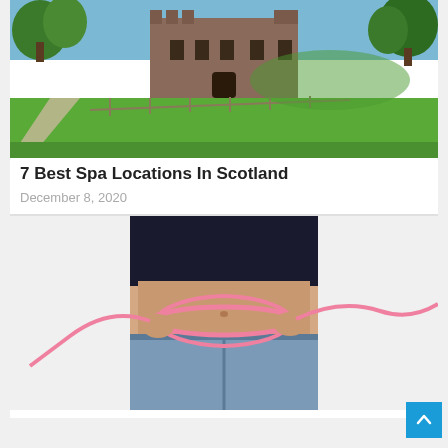[Figure (photo): Photograph of a Scottish castle with green lawns, trees, and a path in the foreground under a blue sky]
7 Best Spa Locations In Scotland
December 8, 2020
[Figure (photo): Woman measuring her waist with a pink tape measure, wearing a black crop top and denim shorts against a white background]